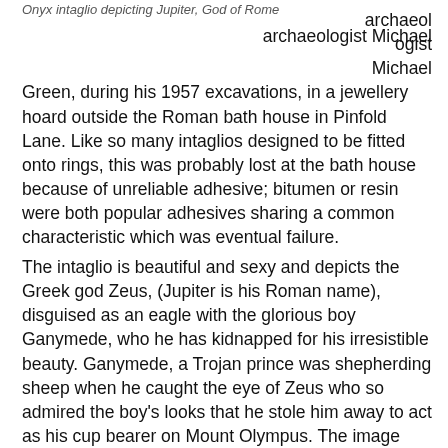Onyx intaglio depicting Jupiter, God of Rome
archaeologist Michael Green, during his 1957 excavations, in a jewellery hoard outside the Roman bath house in Pinfold Lane. Like so many intaglios designed to be fitted onto rings, this was probably lost at the bath house because of unreliable adhesive; bitumen or resin were both popular adhesives sharing a common characteristic which was eventual failure.
The intaglio is beautiful and sexy and depicts the Greek god Zeus, (Jupiter is his Roman name), disguised as an eagle with the glorious boy Ganymede, who he has kidnapped for his irresistible beauty. Ganymede, a Trojan prince was shepherding sheep when he caught the eye of Zeus who so admired the boy's looks that he stole him away to act as his cup bearer on Mount Olympus. The image with its erotic undertones perfectly renders the casual grace of the boy, his luxuriant and flowing hair ornamentally bound as he holds a